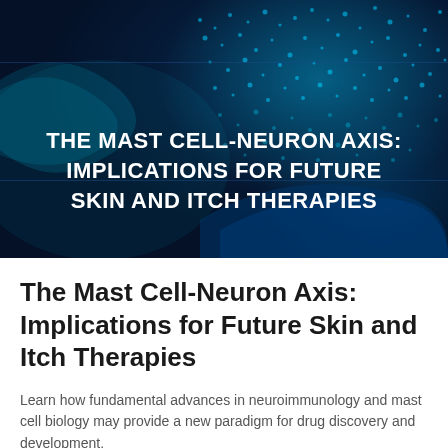[Figure (illustration): Dark blue background with glowing cyan/teal digital network dots and wave patterns. Bold white text overlay reading: THE MAST CELL-NEURON AXIS: IMPLICATIONS FOR FUTURE SKIN AND ITCH THERAPIES]
The Mast Cell-Neuron Axis: Implications for Future Skin and Itch Therapies
Learn how fundamental advances in neuroimmunology and mast cell biology may provide a new paradigm for drug discovery and development.